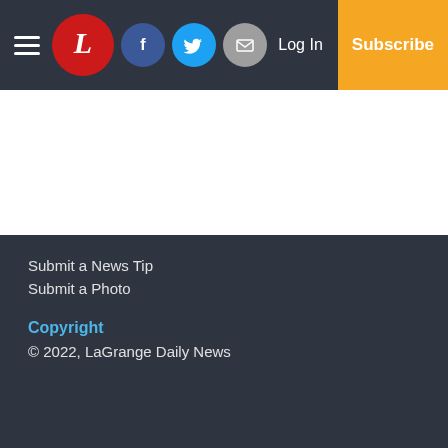LaGrange Daily News navigation header with hamburger menu, logo, Facebook, Twitter, Email social icons, Log In, and Subscribe button
Submit a News Tip
Submit a Photo
Copyright
© 2022, LaGrange Daily News